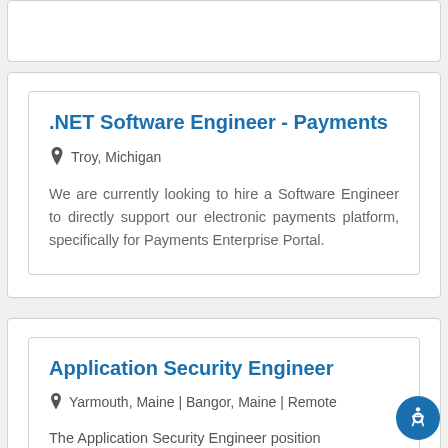.NET Software Engineer - Payments
Troy, Michigan
We are currently looking to hire a Software Engineer to directly support our electronic payments platform, specifically for Payments Enterprise Portal.
Application Security Engineer
Yarmouth, Maine | Bangor, Maine | Remote
The Application Security Engineer position